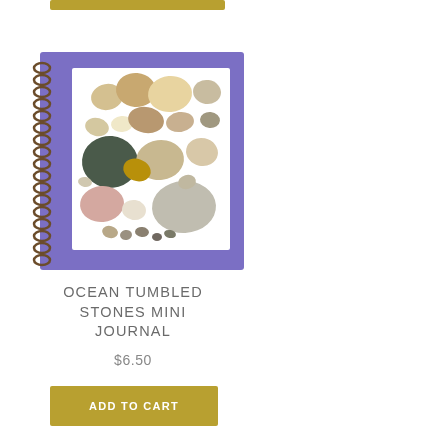[Figure (photo): A spiral-bound mini journal with a purple cover featuring a photo of various ocean tumbled stones (pebbles) of different shapes, sizes, and colors arranged on a white background.]
OCEAN TUMBLED STONES MINI JOURNAL
$6.50
ADD TO CART